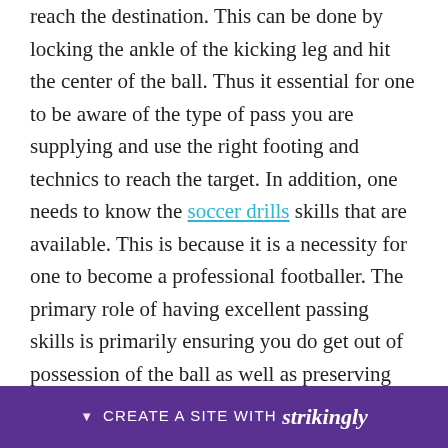reach the destination. This can be done by locking the ankle of the kicking leg and hit the center of the ball. Thus it essential for one to be aware of the type of pass you are supplying and use the right footing and technics to reach the target. In addition, one needs to know the soccer drills skills that are available. This is because it is a necessity for one to become a professional footballer. The primary role of having excellent passing skills is primarily ensuring you do get out of possession of the ball as well as preserving your energy since the opponent team will be struggling to get the play. However, the passing skills must be pr[…] and your[…]e
CREATE A SITE WITH strikingly